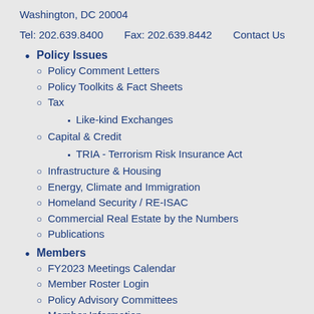Washington, DC 20004
Tel: 202.639.8400    Fax: 202.639.8442    Contact Us
Policy Issues
Policy Comment Letters
Policy Toolkits & Fact Sheets
Tax
Like-kind Exchanges
Capital & Credit
TRIA - Terrorism Risk Insurance Act
Infrastructure & Housing
Energy, Climate and Immigration
Homeland Security / RE-ISAC
Commercial Real Estate by the Numbers
Publications
Members
FY2023 Meetings Calendar
Member Roster Login
Policy Advisory Committees
Member Information